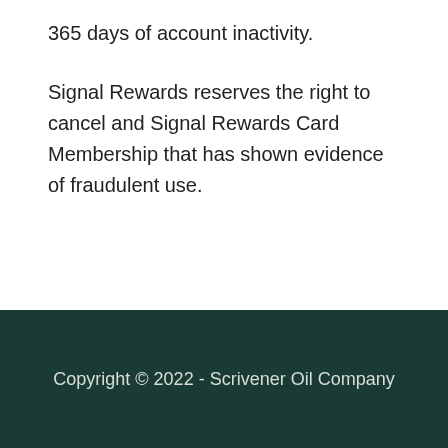365 days of account inactivity.
Signal Rewards reserves the right to cancel and Signal Rewards Card Membership that has shown evidence of fraudulent use.
Copyright © 2022 - Scrivener Oil Company